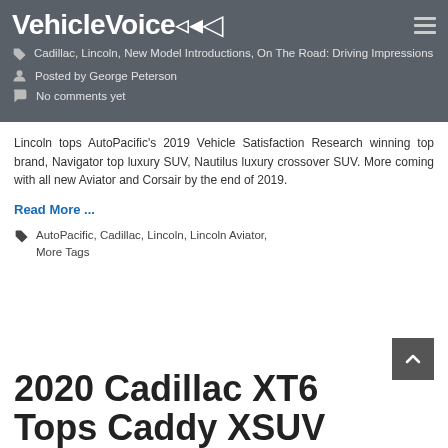VehicleVoice
Cadillac, Lincoln, New Model Introductions, On The Road: Driving Impressions
Posted by George Peterson
No comments yet
Lincoln tops AutoPacific's 2019 Vehicle Satisfaction Research winning top brand, Navigator top luxury SUV, Nautilus luxury crossover SUV. More coming with all new Aviator and Corsair by the end of 2019.
Read More ...
AutoPacific, Cadillac, Lincoln, Lincoln Aviator, More Tags
2020 Cadillac XT6 Tops Caddy XSUV